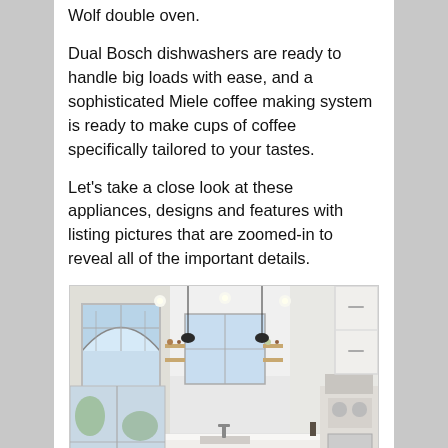Wolf double oven.
Dual Bosch dishwashers are ready to handle big loads with ease, and a sophisticated Miele coffee making system is ready to make cups of coffee specifically tailored to your tastes.
Let's take a close look at these appliances, designs and features with listing pictures that are zoomed-in to reveal all of the important details.
[Figure (photo): Wide-angle interior photo of a bright, modern white kitchen with a large island, arched window, pendant lights, open shelving, and professional-style range in the background.]